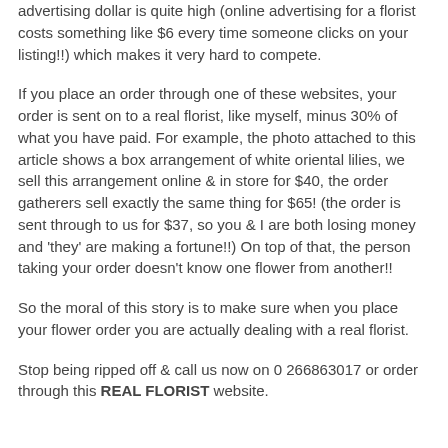advertising dollar is quite high (online advertising for a florist costs something like $6 every time someone clicks on your listing!!) which makes it very hard to compete.
If you place an order through one of these websites, your order is sent on to a real florist, like myself, minus 30% of what you have paid. For example, the photo attached to this article shows a box arrangement of white oriental lilies, we sell this arrangement online & in store for $40, the order gatherers sell exactly the same thing for $65! (the order is sent through to us for $37, so you & I are both losing money and 'they' are making a fortune!!) On top of that, the person taking your order doesn't know one flower from another!!
So the moral of this story is to make sure when you place your flower order you are actually dealing with a real florist.
Stop being ripped off & call us now on 0 266863017 or order through this REAL FLORIST website.